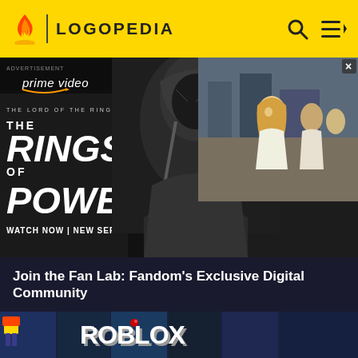LOGOPEDIA
[Figure (screenshot): Amazon Prime Video advertisement for 'The Lord of the Rings: The Rings of Power' showing a hooded stone creature character on left and a blonde woman with people behind her on the right, with text 'prime video', 'THE LORD OF THE RINGS', 'THE RINGS OF POWER', 'WATCH NOW | NEW SERIES']
Join the Fan Lab: Fandom's Exclusive Digital Community
[Figure (screenshot): Roblox game page screenshot showing multiple Roblox logo versions - large white 3D 'ROBLOX' text at top center, smaller white outlined 'ROBLOX' text at bottom left, red/white 'ROBLOX' logo at bottom right, and red 'ROBLOX' logos at very bottom, all on a dark blue/purple background with game thumbnails]